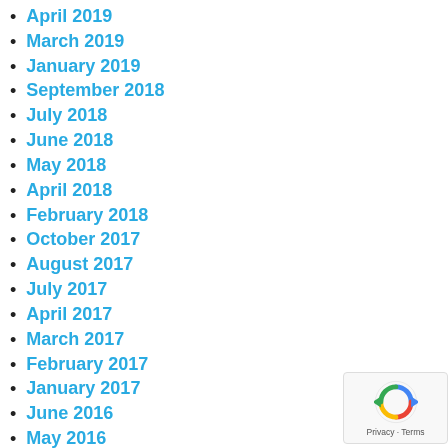April 2019
March 2019
January 2019
September 2018
July 2018
June 2018
May 2018
April 2018
February 2018
October 2017
August 2017
July 2017
April 2017
March 2017
February 2017
January 2017
June 2016
May 2016